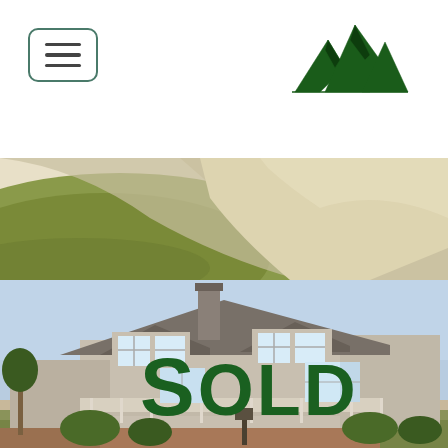[Figure (logo): Mountain peaks logo in dark green, real estate company branding]
[Figure (photo): Aerial/close-up view of a curved driveway with green lawn on the left and light concrete/sand surface on the right]
[Figure (photo): Exterior photo of a large Cape Cod style house with dormer windows, chimney, wraparound porch, and landscaping. A large green SOLD text overlay is displayed across the front of the house.]
SOLD